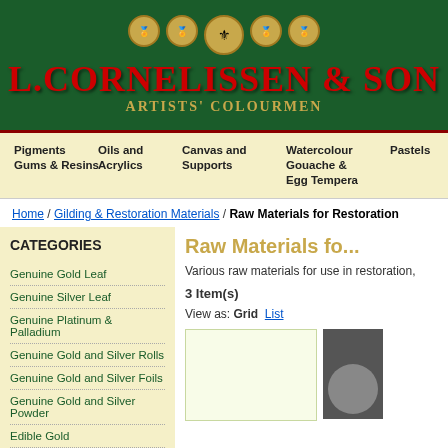[Figure (logo): L. Cornelissen & Son Artists' Colourmen logo with dark green background, red company name, gold subtitle, and decorative medals/coat of arms]
Pigments Gums & Resins | Oils and Acrylics | Canvas and Supports | Watercolour Gouache & Egg Tempera | Pastels | Dra... Ca...
Home / Gilding & Restoration Materials / Raw Materials for Restoration
CATEGORIES
Genuine Gold Leaf
Genuine Silver Leaf
Genuine Platinum & Palladium
Genuine Gold and Silver Rolls
Genuine Gold and Silver Foils
Genuine Gold and Silver Powder
Edible Gold
Shell Gold
Metal & Variegated Leaf
Raw Materials fo...
Various raw materials for use in restoration,
3 Item(s)
View as: Grid  List